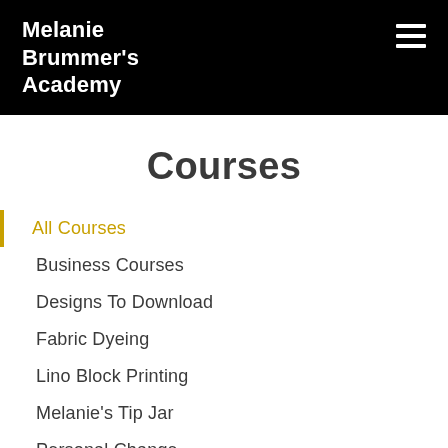Melanie Brummer's Academy
Courses
All Courses
Business Courses
Designs To Download
Fabric Dyeing
Lino Block Printing
Melanie's Tip Jar
Personal Change
Printing With Found Objects